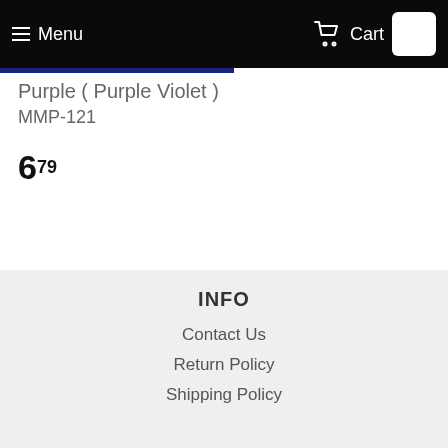Menu   Cart
Purple ( Purple Violet )
MMP-121
6.79
INFO
Contact Us
Return Policy
Shipping Policy